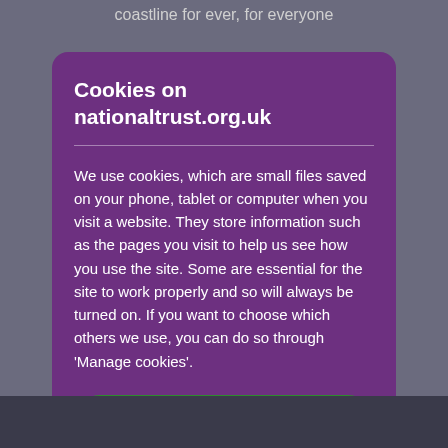coastline for ever, for everyone
Cookies on nationaltrust.org.uk
We use cookies, which are small files saved on your phone, tablet or computer when you visit a website. They store information such as the pages you visit to help us see how you use the site. Some are essential for the site to work properly and so will always be turned on. If you want to choose which others we use, you can do so through 'Manage cookies'.
Accept all cookies
Manage cookies